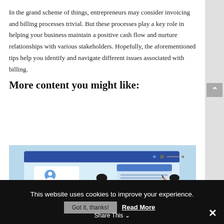In the grand scheme of things, entrepreneurs may consider invoicing and billing processes trivial. But these processes play a key role in helping your business maintain a positive cash flow and nurture relationships with various stakeholders. Hopefully, the aforementioned tips help you identify and navigate different issues associated with billing.
More content you might like:
[Figure (illustration): Illustration of a software/app interface with two people interacting with a large screen showing user profile and document panels. Light blue background with a dark blue top bar.]
This website uses cookies to improve your experience. Got it, thanks! Read More Share This ✕